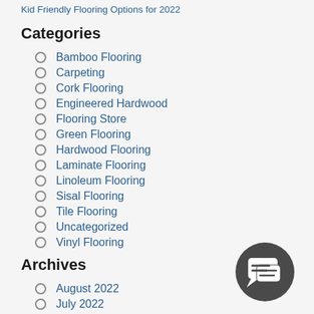Kid Friendly Flooring Options for 2022
Categories
Bamboo Flooring
Carpeting
Cork Flooring
Engineered Hardwood
Flooring Store
Green Flooring
Hardwood Flooring
Laminate Flooring
Linoleum Flooring
Sisal Flooring
Tile Flooring
Uncategorized
Vinyl Flooring
Archives
August 2022
July 2022
June 2022
[Figure (illustration): Chat/message icon in a dark gray circle, bottom right corner]